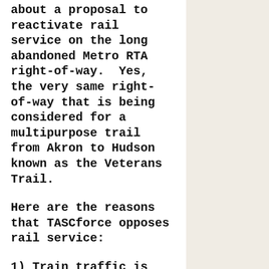about a proposal to reactivate rail service on the long abandoned Metro RTA right-of-way. Yes, the very same right-of-way that is being considered for a multipurpose trail from Akron to Hudson known as the Veterans Trail.
Here are the reasons that TASCforce opposes rail service:
1) Train traffic is noisy, interferes with traffic, and can be dangerous.
2) An active rail line lowers the property value for all residents living nearby. But